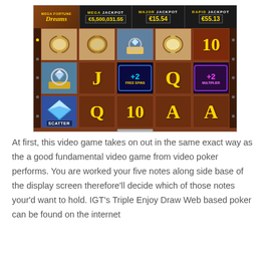[Figure (screenshot): Screenshot of Mega Fortune Dreams slot machine game showing jackpot bar with MEGA JACKPOT €5,500,031.55, MAJOR JACKPOT €15.54, RAPID JACKPOT €55.13, and a 5x3 reel grid with watch, ring, diamond symbols, J, Q, A, 10 card symbols, +2 FREE SPINS bonus, +2 MULTIPLIER bonus, and SCATTER symbol.]
At first, this video game takes on out in the same exact way as the a good fundamental video game from video poker performs. You are worked your five notes along side base of the display screen therefore'll decide which of those notes your'd want to hold. IGT's Triple Enjoy Draw Web based poker can be found on the internet